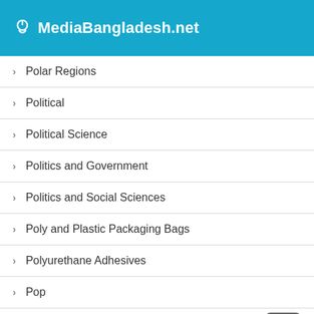MediaBangladesh.net
Polar Regions
Political
Political Science
Politics and Government
Politics and Social Sciences
Poly and Plastic Packaging Bags
Polyurethane Adhesives
Pop
Pop Culture
Popular